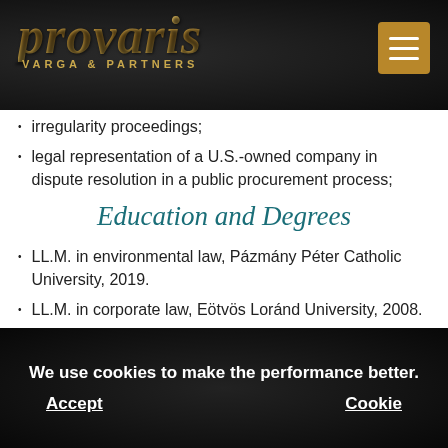provaris VARGA & PARTNERS
irregularity proceedings;
legal representation of a U.S.-owned company in dispute resolution in a public procurement process;
Education and Degrees
LL.M. in environmental law, Pázmány Péter Catholic University, 2019.
LL.M. in corporate law, Eötvös Loránd University, 2008.
J.D., Eötvös Loránd University, Budapest, 2004.
FIDIC, Budapest University of Technology and
We use cookies to make the performance better.
Accept   Cookie